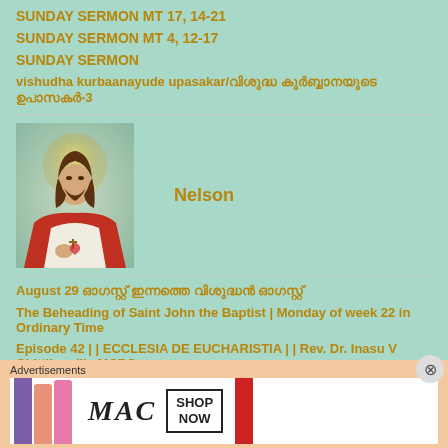SUNDAY SERMON MT 17, 14-21
SUNDAY SERMON MT 4, 12-17
SUNDAY SERMON
vishudha kurbaanayude upasakar/വിശുദ്ധ കുർബ്ബാനയുടെ ഉപാസകർ-3
[Figure (photo): Portrait image of Jesus Christ with halo, Sacred Heart depiction, with name 'Nelson' displayed to the right]
August 29 ഓഗസ്റ്റ് ഇന്നത്തെ വിശുദ്ധൻ ഓഗസ്റ്റ്
The Beheading of Saint John the Baptist | Monday of week 22 in Ordinary Time
Episode 42 | | ECCLESIA DE EUCHARISTIA | | Rev. Dr. Inasu V Chittilappilly MCBS
ഓഗസ്റ്റ് 29 ഓഗസ്റ്റ് വിശുദ്ധ | Saint Euphrasia
ഓഗസ്റ്റ് 28 ഓഗസ്റ്റ് വിശുദ്ധ | Saint Augustine
Advertisements
[Figure (photo): MAC cosmetics advertisement banner showing lipsticks and 'SHOP NOW' call to action]